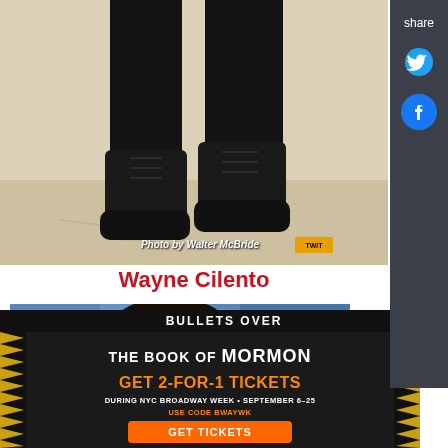[Figure (photo): Photo of person's legs and boots (black jeans, black boots) on a light wood floor. Photo credit: Photo by Walter McBride with a logo badge.]
Wayne Cilento
[Figure (photo): Photo of a young man's face/head with dark hair, against a blue background.]
BULLETS OVER
[Figure (infographic): Advertisement for The Book of Mormon musical. GET 2-FOR-1 TICKETS DURING NYC BROADWAY WEEK • SEPTEMBER 6-25 USE CODE BWAYWK GET TICKETS]